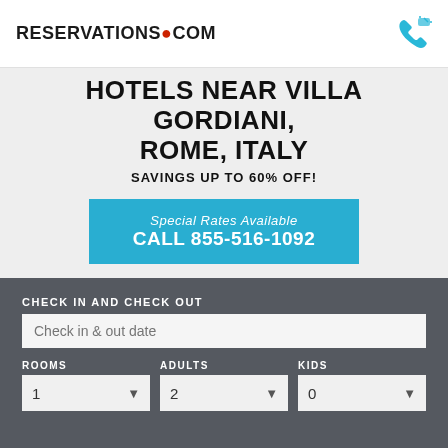RESERVATIONS.COM
HOTELS NEAR VILLA GORDIANI, ROME, ITALY
SAVINGS UP TO 60% OFF!
Special Rates Available
CALL 855-516-1092
CHECK IN AND CHECK OUT
Check in & out date
ROOMS: 1  ADULTS: 2  KIDS: 0
SEARCH HOTEL DEALS